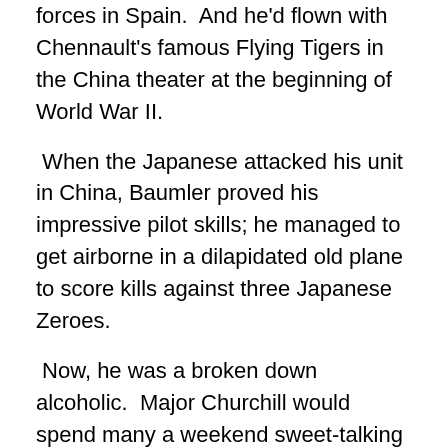forces in Spain.  And he'd flown with Chennault's famous Flying Tigers in the China theater at the beginning of World War II.
When the Japanese attacked his unit in China, Baumler proved his impressive pilot skills; he managed to get airborne in a dilapidated old plane to score kills against three Japanese Zeroes.
Now, he was a broken down alcoholic.  Major Churchill would spend many a weekend sweet-talking local authorities in North Texas and nearby Oklahoma, getting the drunk, brawling Ajax Baumler out of jail.
The major's goal was to get Baumler to 20 “good years” and  a military pension.   So Baumler was left to cut grass when he felt like it…just let him be….